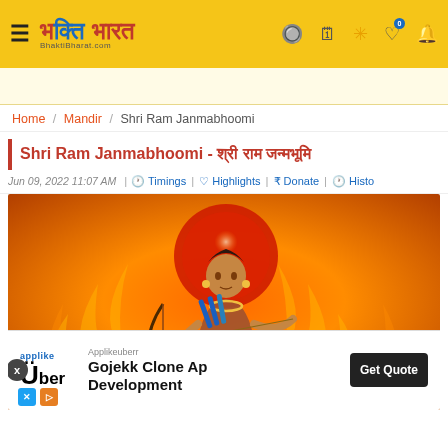भक्ति भारत - BhaktiBharat.com
Home / Mandir / Shri Ram Janmabhoomi
Shri Ram Janmabhoomi - श्री राम जन्मभूमि
Jun 09, 2022 11:07 AM | Timings | Highlights | ₹ Donate | Histo
[Figure (illustration): Illustration of Lord Ram with bow and arrow, orange/fire background, circular halo]
Applikeuberr
Uber Gojekk Clone App Development  Get Quote